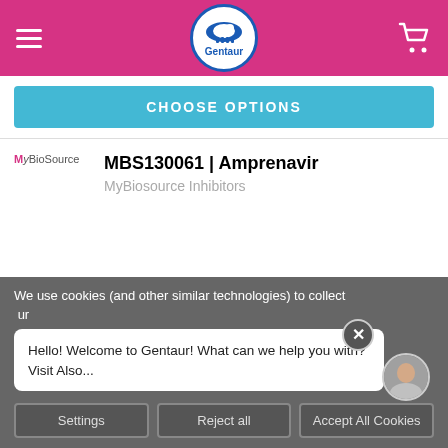Gentaur — navigation header with logo and cart
CHOOSE OPTIONS
MBS130061 | Amprenavir
MyBiosource Inhibitors
Qty in Cart: 0
Price: $1,479.60 – $3,818.40
Subtotal:
We use cookies (and other similar technologies) to collect
Hello! Welcome to Gentaur! What can we help you with?
Visit Also...
Settings   Reject all   Accept All Cookies